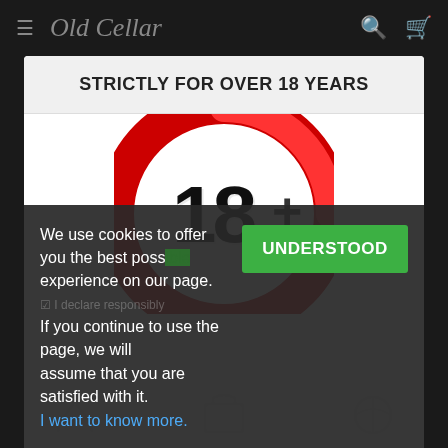Old Cellar
STRICTLY FOR OVER 18 YEARS
[Figure (illustration): Red circular 18+ age restriction sign with bold black text '18+' in center on white background]
We use cookies to offer you the best possible experience on our page. If you continue to use the page, we will assume that you are satisfied with it.
I want to know more.